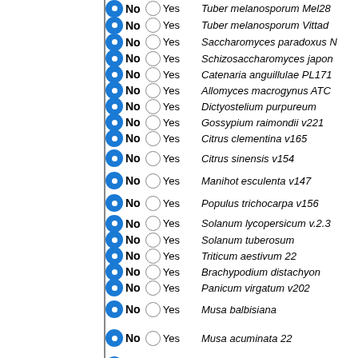No Yes Tuber melanosporum Mel28
No Yes Tuber melanosporum Vittad
No Yes Saccharomyces paradoxus N
No Yes Schizosaccharomyces japon
No Yes Catenaria anguillulae PL171
No Yes Allomyces macrogynus ATC
No Yes Dictyostelium purpureum
No Yes Gossypium raimondii v221
No Yes Citrus clementina v165
No Yes Citrus sinensis v154
No Yes Manihot esculenta v147
No Yes Populus trichocarpa v156
No Yes Solanum lycopersicum v.2.3
No Yes Solanum tuberosum
No Yes Triticum aestivum 22
No Yes Brachypodium distachyon
No Yes Panicum virgatum v202
No Yes Musa balbisiana
No Yes Musa acuminata 22
No Yes Coccomyxa subellipsoidea s